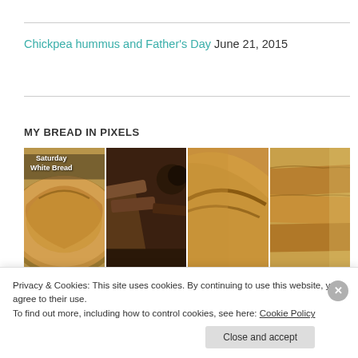Chickpea hummus and Father's Day June 21, 2015
MY BREAD IN PIXELS
[Figure (photo): Grid of bread photography images showing various artisan breads including a round sourdough loaf labeled 'Saturday White Bread', sliced dark bread, a large rustic loaf, stacked baguettes, and partial bottom row images.]
Privacy & Cookies: This site uses cookies. By continuing to use this website, you agree to their use.
To find out more, including how to control cookies, see here: Cookie Policy
Close and accept